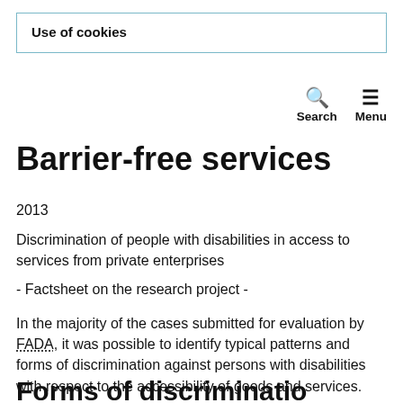Use of cookies
Barrier-free services
2013
Discrimination of people with disabilities in access to services from private enterprises
- Factsheet on the research project -
In the majority of the cases submitted for evaluation by FADA, it was possible to identify typical patterns and forms of discrimination against persons with disabilities with respect to the accessibility of goods and services.
Forms of discrimination